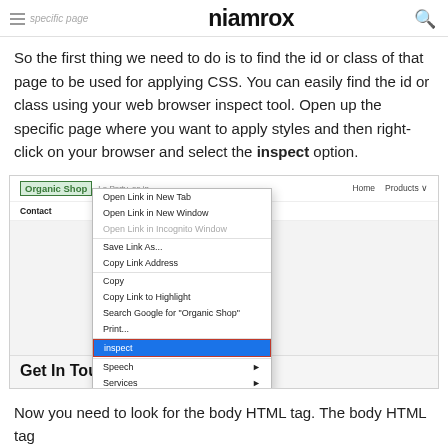specific page | niamrox
So the first thing we need to do is to find the id or class of that page to be used for applying CSS. You can easily find the id or class using your web browser inspect tool. Open up the specific page where you want to apply styles and then right-click on your browser and select the inspect option.
[Figure (screenshot): Screenshot of a browser right-click context menu over a webpage showing 'Organic Shop' site with the 'Inspect' option highlighted in blue, and a 'Get In Touch' section visible below]
Now you need to look for the body HTML tag. The body HTML tag